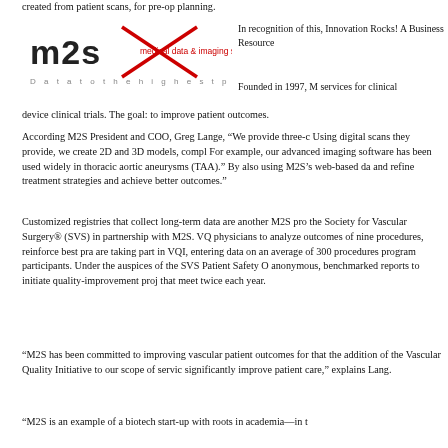created from patient scans, for pre-op planning.
[Figure (logo): M2S logo — medical data & imaging systems, with tagline 'Data to the highest power']
In recognition of this, Innovation Rocks! A Business Resource
Founded in 1997, M2S services for clinical device clinical trials. The goal: to improve patient outcomes.
According M2S President and COO, Greg Lange, “We provide three-d Using digital scans they provide, we create 2D and 3D models, compl For example, our advanced imaging software has been used widely in thoracic aortic aneurysms (TAA).” By also using M2S’s web-based da and refine treatment strategies and achieve better outcomes.”
Customized registries that collect long-term data are another M2S pro the Society for Vascular Surgery® (SVS) in partnership with M2S. VQ physicians to analyze outcomes of nine procedures, reinforce best pra are taking part in VQI, entering data on an average of 300 procedures program participants. Under the auspices of the SVS Patient Safety O anonymous, benchmarked reports to initiate quality-improvement proj that meet twice each year.
“M2S has been committed to improving vascular patient outcomes for that the addition of the Vascular Quality Initiative to our scope of servic significantly improve patient care,” explains Lang.
“M2S is an example of a biotech start-up with roots in academia—in t